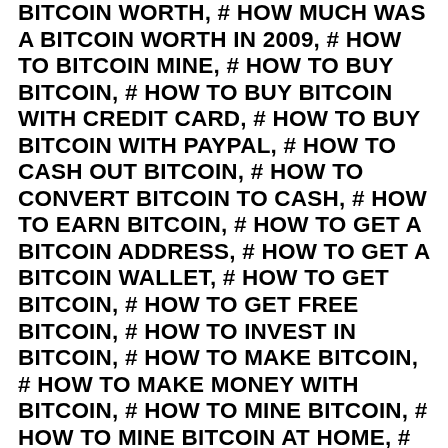BITCOIN WORTH, # HOW MUCH WAS A BITCOIN WORTH IN 2009, # HOW TO BITCOIN MINE, # HOW TO BUY BITCOIN, # HOW TO BUY BITCOIN WITH CREDIT CARD, # HOW TO BUY BITCOIN WITH PAYPAL, # HOW TO CASH OUT BITCOIN, # HOW TO CONVERT BITCOIN TO CASH, # HOW TO EARN BITCOIN, # HOW TO GET A BITCOIN ADDRESS, # HOW TO GET A BITCOIN WALLET, # HOW TO GET BITCOIN, # HOW TO GET FREE BITCOIN, # HOW TO INVEST IN BITCOIN, # HOW TO MAKE BITCOIN, # HOW TO MAKE MONEY WITH BITCOIN, # HOW TO MINE BITCOIN, # HOW TO MINE BITCOIN AT HOME, # HOW TO MINE BITCOIN ON PC, # HOW TO PAY WITH BITCOIN, # HOW TO PURCHASE BITCOIN, # HOW TO SELL BITCOIN, # HOW TO SEND BITCOIN, # HOW TO SEND BITCOIN FROM COINBASE, # HOW TO SHORT BITCOIN, # HOW TO TRADE BITCOIN, # HOW TO USE A BITCOIN ATM, # HOW TO USE BITCOIN, # HOW TO USE BITCOIN ATM, # INVEST IN BITCOIN, # INVESTING IN BITCOIN, # IS BITCOIN A GOOD INVESTMENT, # IS BITCOIN DEAD, # IS BITCOIN LEGAL, # IS BITCOIN MINING LEGAL, # IS BITCOIN MINING PROFITABLE, # IS BITCOIN SAFE, # IS